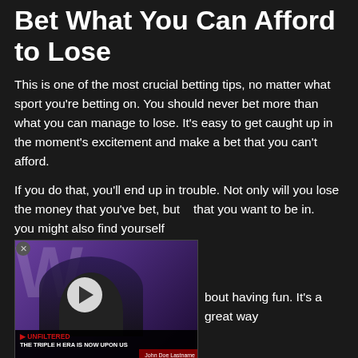Bet What You Can Afford to Lose
This is one of the most crucial betting tips, no matter what sport you're betting on. You should never bet more than what you can manage to lose. It's easy to get caught up in the moment's excitement and make a bet that you can't afford.
If you do that, you'll end up in trouble. Not only will you lose the money that you've bet, but you might also find yourself that you want to be in.
[Figure (screenshot): Embedded video thumbnail showing a bald man in a black suit against a purple background, with a play button overlay and a red lower bar showing 'THE TRIPLE H ERA IS NOW UPON US']
bout having fun. It's a great way to enjoy the sport and make some money at the same time. Just make sure that you're sensible with your bets and don't get in over your head.